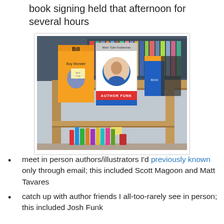book signing held that afternoon for several hours
[Figure (photo): Photo of a library book display shelf with books including 'Bill the Boy Wonder' (orange cover) and a book by Marc Tyler Nobleman (white cover with his photo and red 'Author Funk' banner), plus other books. The shelves below contain many colorful children's books.]
meet in person authors/illustrators I'd previously known only through email; this included Scott Magoon and Matt Tavares
catch up with author friends I all-too-rarely see in person; this included Josh Funk
make new author friends